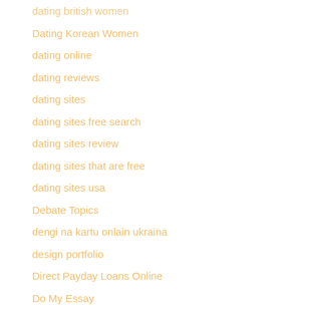dating british women
Dating Korean Women
dating online
dating reviews
dating sites
dating sites free search
dating sites review
dating sites that are free
dating sites usa
Debate Topics
dengi na kartu onlain ukraina
design portfolio
Direct Payday Loans Online
Do My Essay
drag and drop html editor